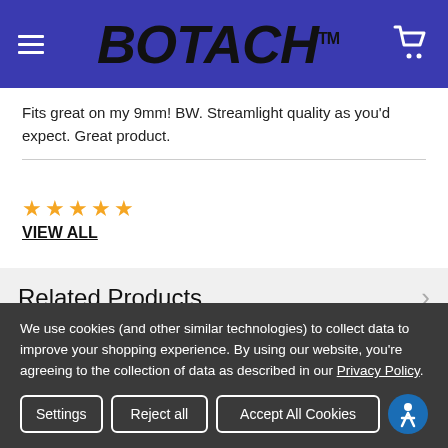BOTACH™
Fits great on my 9mm! BW. Streamlight quality as you'd expect. Great product.
★★★★★ VIEW ALL
Related Products
[Figure (photo): Two related product cards, left card is blank/white, right card shows a dark-colored tactical accessory or holster product partially visible]
We use cookies (and other similar technologies) to collect data to improve your shopping experience. By using our website, you're agreeing to the collection of data as described in our Privacy Policy.